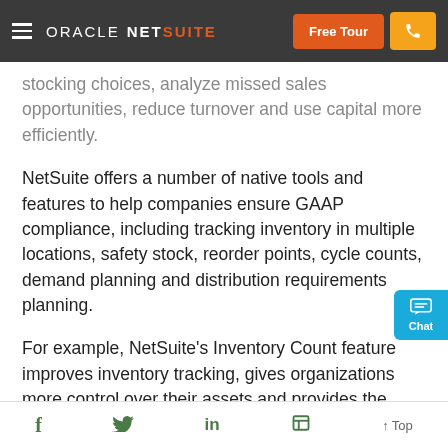ORACLE NETSUITE | Free Tour
stocking choices, analyze missed sales opportunities, reduce turnover and use capital more efficiently.
NetSuite offers a number of native tools and features to help companies ensure GAAP compliance, including tracking inventory in multiple locations, safety stock, reorder points, cycle counts, demand planning and distribution requirements planning.
For example, NetSuite's Inventory Count feature improves inventory tracking, gives organizations more control over their assets and provides the accurate information those companies need to stay GAAP-compliant. They can also categorize inventory based
f  Twitter  in  Flipboard  ↑ Top